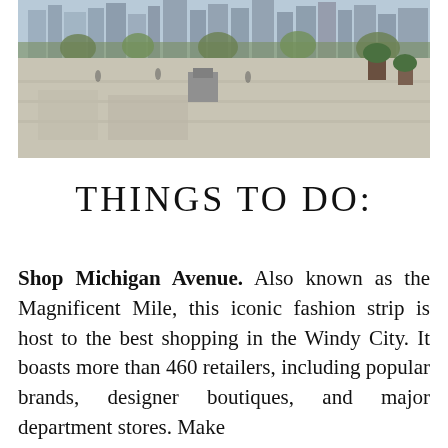[Figure (photo): Aerial/street-level photo of Michigan Avenue (the Magnificent Mile) in Chicago, showing tall skyscrapers, wide boulevard with trees, pedestrians, and urban plaza.]
THINGS TO DO:
Shop Michigan Avenue. Also known as the Magnificent Mile, this iconic fashion strip is host to the best shopping in the Windy City. It boasts more than 460 retailers, including popular brands, designer boutiques, and major department stores. Make